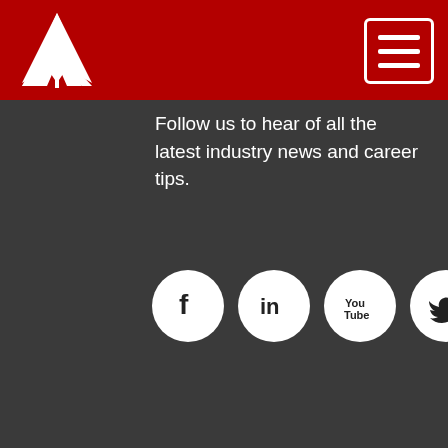[Figure (logo): White arrow/triangle logo on red background]
[Figure (illustration): Hamburger menu icon (three horizontal lines) in white border box on red background]
Follow us to hear of all the latest industry news and career tips.
[Figure (illustration): Four social media icons in white circles: Facebook (f), LinkedIn (in), YouTube (You Tube), Twitter (bird)]
Useful links
I'm job seeking
I'm looking to recruit
[Figure (illustration): Red Contact Us button with upward arrow]